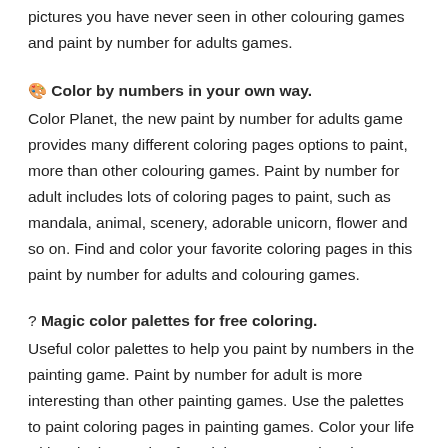pictures you have never seen in other colouring games and paint by number for adults games.
🎨 Color by numbers in your own way.
Color Planet, the new paint by number for adults game provides many different coloring pages options to paint, more than other colouring games. Paint by number for adult includes lots of coloring pages to paint, such as mandala, animal, scenery, adorable unicorn, flower and so on. Find and color your favorite coloring pages in this paint by number for adults and colouring games.
? Magic color palettes for free coloring.
Useful color palettes to help you paint by numbers in the painting game. Paint by number for adult is more interesting than other painting games. Use the palettes to paint coloring pages in painting games. Color your life with paint by number for adults games, Color Planet, a magic colour game. The paint by number